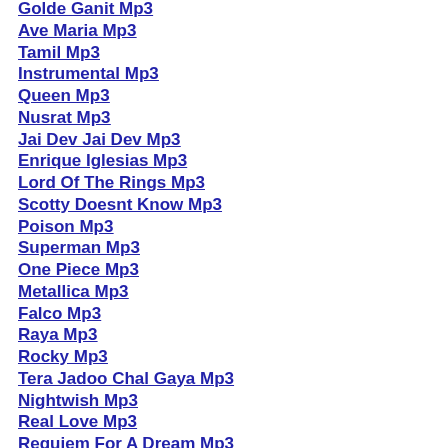Golde Ganit Mp3
Ave Maria Mp3
Tamil Mp3
Instrumental Mp3
Queen Mp3
Nusrat Mp3
Jai Dev Jai Dev Mp3
Enrique Iglesias Mp3
Lord Of The Rings Mp3
Scotty Doesnt Know Mp3
Poison Mp3
Superman Mp3
One Piece Mp3
Metallica Mp3
Falco Mp3
Raya Mp3
Rocky Mp3
Tera Jadoo Chal Gaya Mp3
Nightwish Mp3
Real Love Mp3
Requiem For A Dream Mp3
Parlotones Mp3
Scorpions Mp3
Transformers Mp3
Sunderkand Mp3
Evanescence Mp3